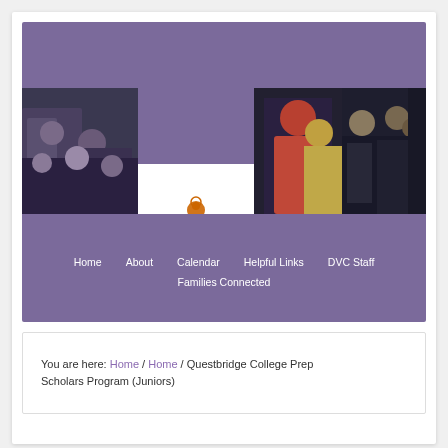[Figure (screenshot): Da Vinci Communications website header with purple banner, photo strip of students, Da Vinci Communications logo, and navigation menu including Home, About, Calendar, Helpful Links, DVC Staff, and Families Connected]
You are here: Home / Home / Questbridge College Prep Scholars Program (Juniors)